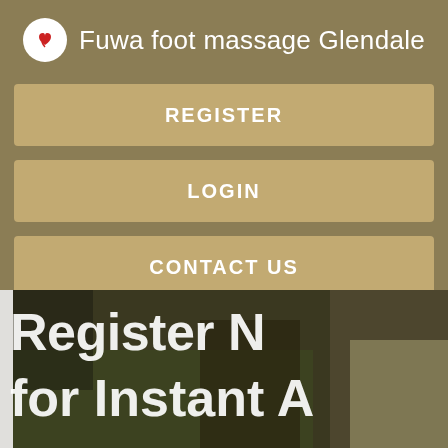Fuwa foot massage Glendale
REGISTER
LOGIN
CONTACT US
[Figure (photo): Background photo of people outdoors on grass, with overlaid text 'Register Now for Instant Access' (partially visible)]